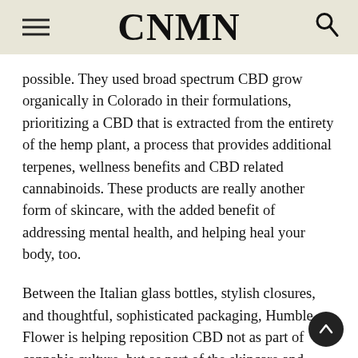CNMN
possible. They used broad spectrum CBD grow organically in Colorado in their formulations, prioritizing a CBD that is extracted from the entirety of the hemp plant, a process that provides additional terpenes, wellness benefits and CBD related cannabinoids. These products are really another form of skincare, with the added benefit of addressing mental health, and helping heal your body, too.
Between the Italian glass bottles, stylish closures, and thoughtful, sophisticated packaging, Humble Flower is helping reposition CBD not as part of cannabis culture, but as part of the skincare and health space. “We wanted to destigmatize, because we wanted it to look nothing like cannabis,” Thea explained. “It could sit on a desk, and it does, or on your shelf out in the bathroom. The packaging is a great disarmer, it totally takes away the fear. People are